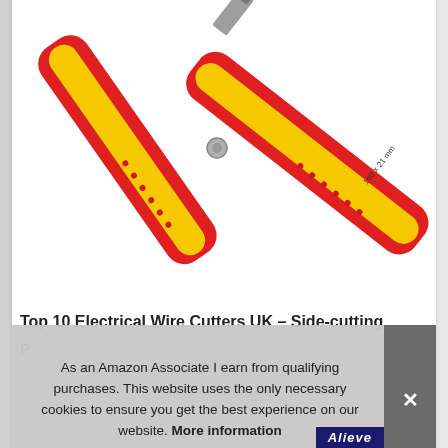[Figure (photo): Red and yellow insulated electrical wire cutters / side-cutting pliers (Knipex style), shown open with two handles visible. One handle labeled '160 x 21 mm' and the other '161 513 160'.]
Top 10 Electrical Wire Cutters UK – Side-cutting P...
As an Amazon Associate I earn from qualifying purchases. This website uses the only necessary cookies to ensure you get the best experience on our website. More information